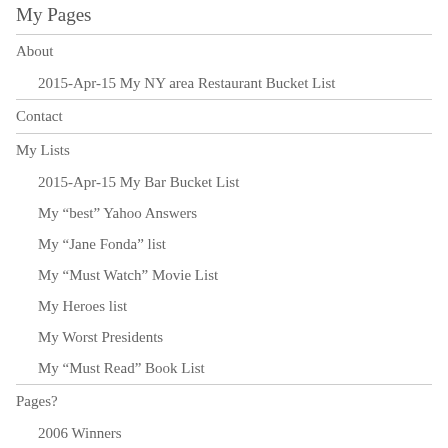My Pages
About
2015-Apr-15 My NY area Restaurant Bucket List
Contact
My Lists
2015-Apr-15 My Bar Bucket List
My “best” Yahoo Answers
My “Jane Fonda” list
My “Must Watch” Movie List
My Heroes list
My Worst Presidents
My “Must Read” Book List
Pages?
2006 Winners